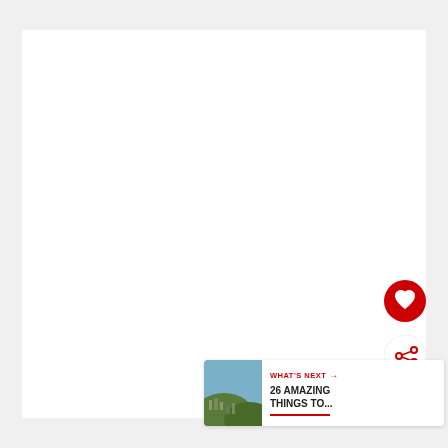[Figure (screenshot): White rectangular content area on light gray background — main photo/content area (empty/white)]
[Figure (illustration): Red circular heart/favorite button with white heart icon]
[Figure (illustration): White circular share button with red share icon (< with two dots and a plus)]
[Figure (photo): Small circular thumbnail photo of a hillside or aerial cityscape view]
WHAT'S NEXT →
26 AMAZING THINGS TO...